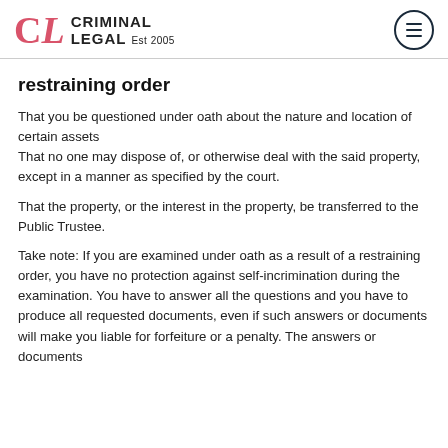CL CRIMINAL LEGAL Est 2005
restraining order
That you be questioned under oath about the nature and location of certain assets
That no one may dispose of, or otherwise deal with the said property, except in a manner as specified by the court.
That the property, or the interest in the property, be transferred to the Public Trustee.
Take note: If you are examined under oath as a result of a restraining order, you have no protection against self-incrimination during the examination. You have to answer all the questions and you have to produce all requested documents, even if such answers or documents will make you liable for forfeiture or a penalty. The answers or documents